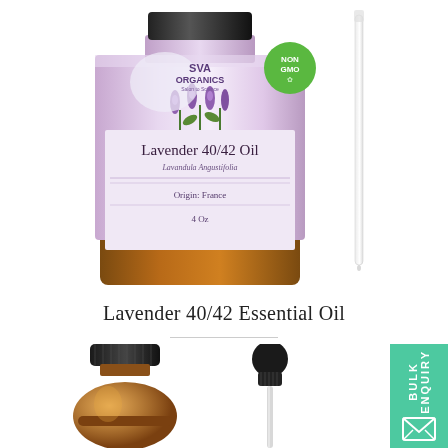[Figure (photo): SVA Organics Lavender 40/42 Oil product bottle (amber glass, 4 Oz) with purple lavender flowers on label, NON GMO badge, and a glass dropper pipette beside it on white background]
Lavender 40/42 Essential Oil
[Figure (photo): Small amber glass bottle with black cap and a black rubber-bulb dropper beside it on white background; BULK ENQUIRY badge in mint green on right side]